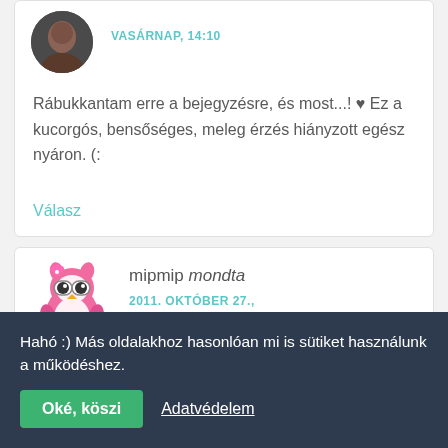VASÁRNAP, 14:10
Rábukkantam erre a bejegyzésre, és most...! ♥ Ez a kucorgós, bensőséges, meleg érzés hiányzott egész nyáron. (:
Válasz
mipmip mondta
2011. OKTÓBER 27.,
Hahó :) Más oldalakhoz hasonlóan mi is sütiket használunk a működéshez.
Oké, köszi
Adatvédelem